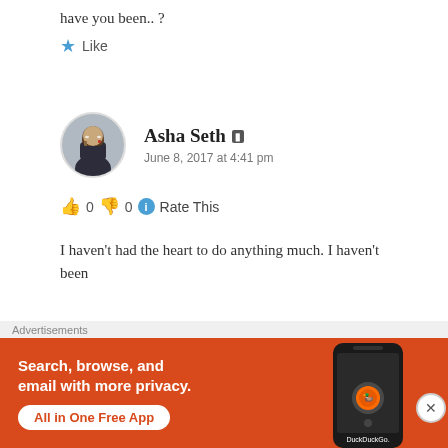have you been.. ?
★ Like
Asha Seth
June 8, 2017 at 4:41 pm
👍 0  👎 0  ℹ Rate This
I haven't had the heart to do anything much. I haven't been
[Figure (screenshot): DuckDuckGo advertisement banner with orange background, phone graphic, text: Search, browse, and email with more privacy. All in One Free App.]